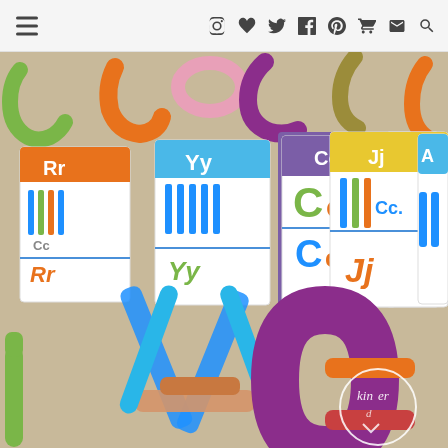Navigation bar with hamburger menu and social/utility icons
[Figure (photo): Educational photograph showing colorful transparent letter-building manipulatives (plastic pieces shaped into letters A, C, etc.) on a beige carpet, alongside alphabet flashcards showing letters Rr, Yy, Cc, Jj, and A. The cards have colored headers and show both uppercase and lowercase letter forms. In the foreground are large blue, orange/copper, and purple plastic pieces forming letters A and C. A circular 'kinder' watermark logo appears in the bottom-right corner.]